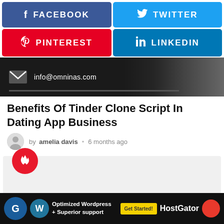[Figure (infographic): Facebook social share button (blue)]
[Figure (infographic): Twitter social share button (light blue)]
[Figure (infographic): Pinterest social share button (red)]
[Figure (infographic): LinkedIn social share button (blue)]
[Figure (screenshot): Dark banner with email info@omninas.com and a phone/device image on the right with a progress bar at the bottom]
Benefits Of Tinder Clone Script In Dating App Business
by amelia davis • 6 months ago
[Figure (infographic): Content card with fire badge icon and close button]
[Figure (infographic): HostGator advertisement banner at bottom with WordPress logo and Get Started button]